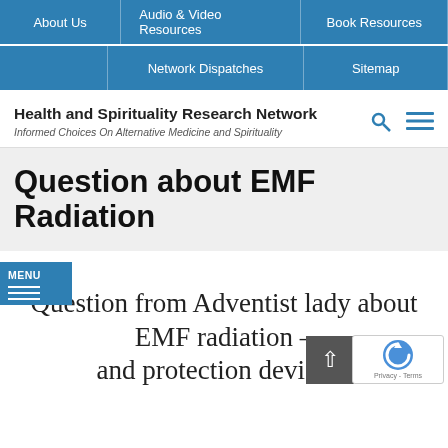About Us | Audio & Video Resources | Book Resources
Network Dispatches | Sitemap
Health and Spirituality Research Network
Informed Choices On Alternative Medicine and Spirituality
Question about EMF Radiation
Question from Adventist lady about EMF radiation – and protection devices?